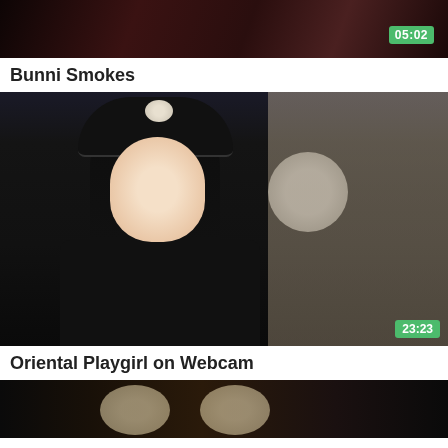[Figure (photo): Video thumbnail showing partial view of a person with red lips, dark background. Duration badge shows 05:02.]
Bunni Smokes
[Figure (photo): Video thumbnail showing a young East Asian woman wearing a black police hat with silver badge, black top, long straight black hair, seated in a bedroom with a mirror and vanity in background. Duration badge shows 23:23.]
Oriental Playgirl on Webcam
[Figure (photo): Video thumbnail showing two blonde women with headbands, partial view, dark background.]